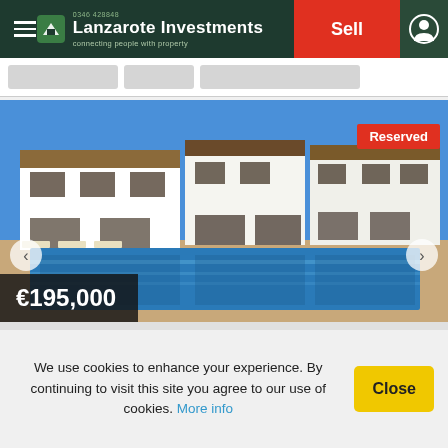Lanzarote Investments – connecting people with property
[Figure (photo): Exterior photo of white Spanish-style townhouses with a large rectangular swimming pool in the foreground, blue sky, with a 'Reserved' badge overlay and price €195,000 on a dark semi-transparent banner at the bottom left]
We use cookies to enhance your experience. By continuing to visit this site you agree to our use of cookies. More info
Close